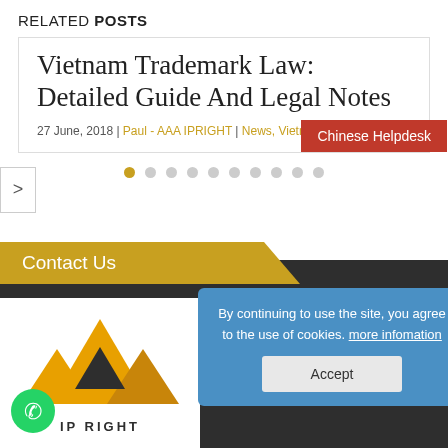RELATED POSTS
Vietnam Trademark Law: Detailed Guide And Legal Notes
27 June, 2018 | Paul - AAA IPRIGHT | News, Vietna…
[Figure (screenshot): Chinese Helpdesk red overlay button]
[Figure (screenshot): Carousel navigation arrow (>) and pagination dots, first dot active (orange), rest grey]
Contact Us
[Figure (logo): AAA IPRIGHT logo with gold triangle mountains on white background, green WhatsApp icon in lower left]
By continuing to use the site, you agree to the use of cookies. more infomation
Accept